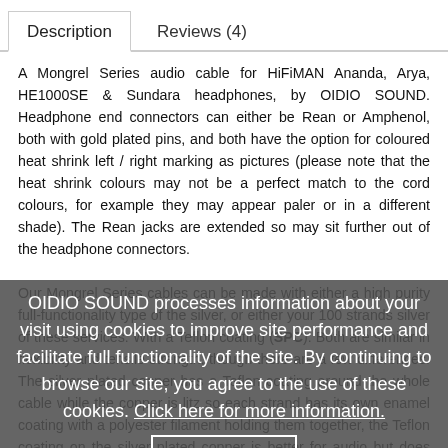Description | Reviews (4)
A Mongrel Series audio cable for HiFiMAN Ananda, Arya, HE1000SE & Sundara headphones, by OIDIO SOUND. Headphone end connectors can either be Rean or Amphenol, both with gold plated pins, and both have the option for coloured heat shrink left / right marking as pictures (please note that the heat shrink colours may not be a perfect match to the cord colours, for example they may appear paler or in a different shade). The Rean jacks are extended so may sit further out of the headphone co...
Our Mongrel Series cables can be made with either a high purity full-functionality type of the silver plated copper, or silver plated copper is better for audio but does make it slightly more rigid, while
OIDIO SOUND processes information about your visit using cookies to improve site performance and facilitate full functionality of the site. By continuing to browse our site, you agree to the use of these cookies. Click here for more information.
ACCEPT